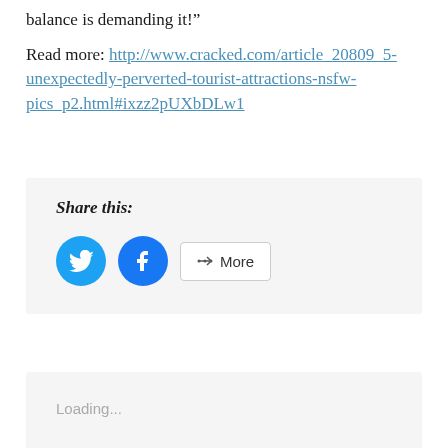balance is demanding it!”
Read more: http://www.cracked.com/article_20809_5-unexpectedly-perverted-tourist-attractions-nsfw-pics_p2.html#ixzz2pUXbDLw1
[Figure (infographic): Share this: social media share buttons including Twitter (blue bird icon), Facebook (blue f icon), and a More button with share icon]
Loading...